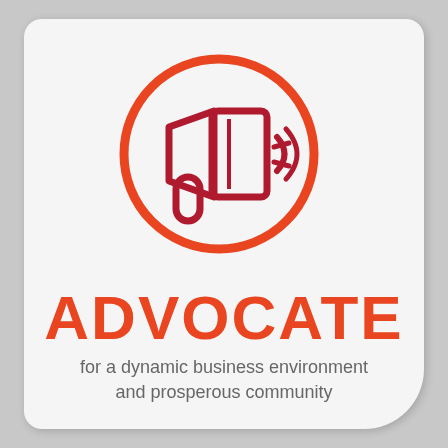[Figure (illustration): Megaphone/bullhorn icon inside an orange circle, with sound waves on the right side. The megaphone is drawn in dark red/crimson with a handle, and the circle outline is orange.]
ADVOCATE
for a dynamic business environment and prosperous community